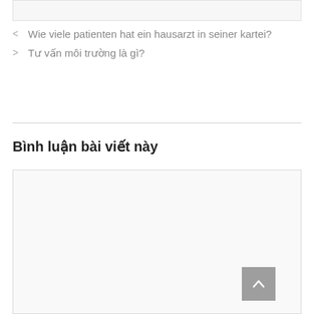< Wie viele patienten hat ein hausarzt in seiner kartei?
> Tư vấn môi trường là gì?
Bình luận bài viết này